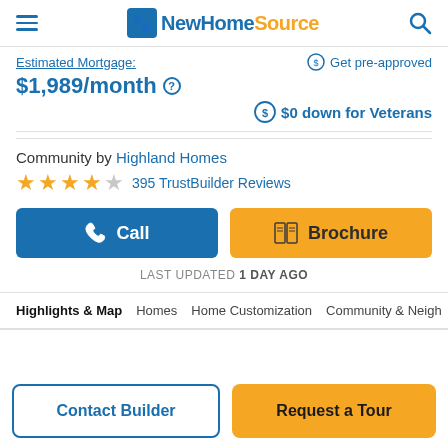NewHomeSource
Estimated Mortgage: $1,989/month
Get pre-approved
$0 down for Veterans
Community by Highland Homes
★★★★☆ 395 TrustBuilder Reviews
Call
Brochure
LAST UPDATED 1 DAY AGO
Highlights & Map | Homes | Home Customization | Community & Neigh…
Contact Builder
Request a Tour